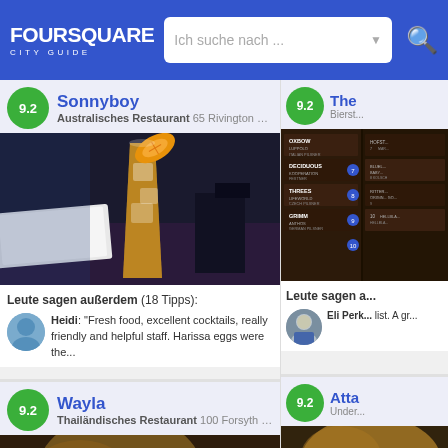FOURSQUARE CITY GUIDE — Ich suche nach ...
Sonnyboy — 9.2
Australisches Restaurant 65 Rivington St N...
[Figure (photo): Photo of a cocktail drink in a glass with ice and orange slice garnish on a table]
Leute sagen außerdem (18 Tipps):
Heidi: "Fresh food, excellent cocktails, really friendly and helpful staff. Harissa eggs were the..."
Wayla — 9.2
Thailändisches Restaurant 100 Forsyth St ...
[Figure (photo): Partial photo at bottom, blurry warm-toned food/drink image]
The... — 9.2
Bierst...
[Figure (photo): Beer tap menu board showing OXBOW Luppolo Italian Pilsner, DECIDUOUS Kooperation Festner, THREES Lifeworld Czech Pilsner, GRIMM Anthos German Pilsner, HOFST... MARLY..., BLUEL... Baby... Kolsch, RITTER... Origi... Go...]
Leute sagen a...
Eli Perk... list. A gr...
Atta... — 9.2
Under...